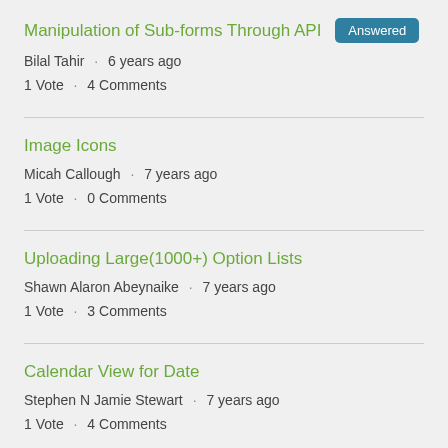Manipulation of Sub-forms Through API
Bilal Tahir · 6 years ago
1 Vote · 4 Comments
Image Icons
Micah Callough · 7 years ago
1 Vote · 0 Comments
Uploading Large(1000+) Option Lists
Shawn Alaron Abeynaike · 7 years ago
1 Vote · 3 Comments
Calendar View for Date
Stephen N Jamie Stewart · 7 years ago
1 Vote · 4 Comments